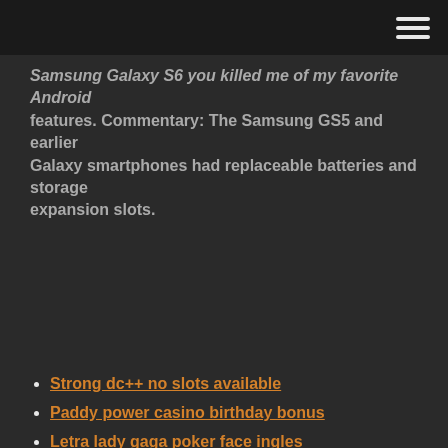Samsung Galaxy S6 you killed me of my favorite Android features. Commentary: The Samsung GS5 and earlier Galaxy smartphones had replaceable batteries and storage expansion slots.
Strong dc++ no slots available
Paddy power casino birthday bonus
Letra lady gaga poker face ingles
Twin slot shelving system black